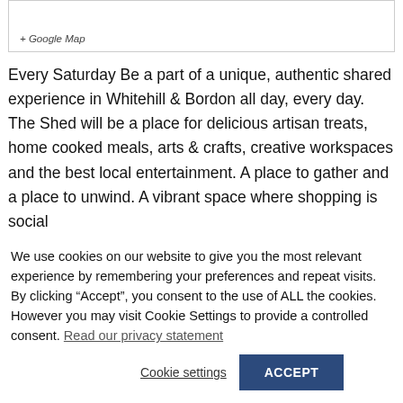[Figure (map): + Google Map link at bottom of map embed box]
Every Saturday Be a part of a unique, authentic shared experience in Whitehill & Bordon all day, every day. The Shed will be a place for delicious artisan treats, home cooked meals, arts & crafts, creative workspaces and the best local entertainment. A place to gather and a place to unwind. A vibrant space where shopping is social
We use cookies on our website to give you the most relevant experience by remembering your preferences and repeat visits. By clicking “Accept”, you consent to the use of ALL the cookies. However you may visit Cookie Settings to provide a controlled consent. Read our privacy statement
Cookie settings  ACCEPT